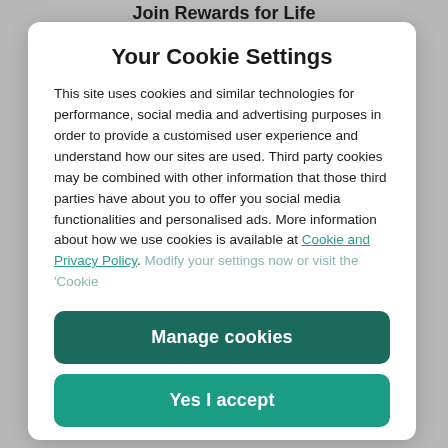Join Rewards for Life
Your Cookie Settings
This site uses cookies and similar technologies for performance, social media and advertising purposes in order to provide a customised user experience and understand how our sites are used. Third party cookies may be combined with other information that those third parties have about you to offer you social media functionalities and personalised ads. More information about how we use cookies is available at Cookie and Privacy Policy. Modify your settings now or visit the 'Cookie
Manage cookies
Yes I accept